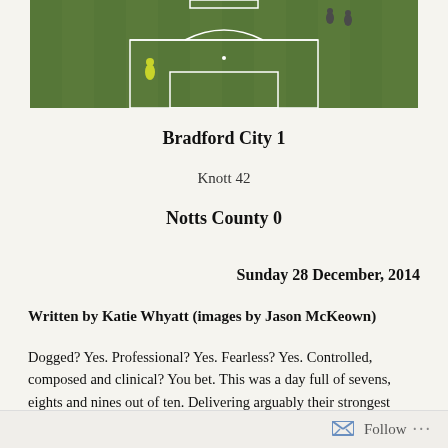[Figure (photo): Aerial/overhead view of a football pitch (grass) with players visible, one in a green/yellow kit standing near the penalty area. White pitch markings visible.]
Bradford City 1
Knott 42
Notts County 0
Sunday 28 December, 2014
Written by Katie Whyatt (images by Jason McKeown)
Dogged? Yes. Professional? Yes. Fearless? Yes. Controlled, composed and clinical? You bet. This was a day full of sevens, eights and nines out of ten. Delivering arguably their strongest home display of the entire season, the Bantams offered a performance that will prove integral in shaping the ultimate outcome of the season.
Follow